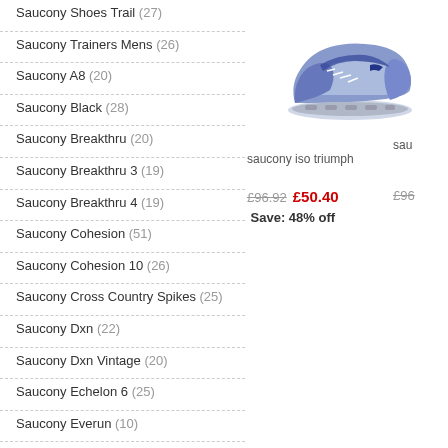Saucony Shoes Trail (27)
Saucony Trainers Mens (26)
Saucony A8 (20)
Saucony Black (28)
Saucony Breakthru (20)
Saucony Breakthru 3 (19)
Saucony Breakthru 4 (19)
Saucony Cohesion (51)
Saucony Cohesion 10 (26)
Saucony Cross Country Spikes (25)
Saucony Dxn (22)
Saucony Dxn Vintage (20)
Saucony Echelon 6 (25)
Saucony Everun (10)
Saucony Excursion (23)
Saucony Fastwitch 8 (18)
[Figure (photo): Saucony ISO Triumph running shoe, blue/white/black colorway, side view]
saucony iso triumph
sau
£96.92  £50.40  Save: 48% off
£96